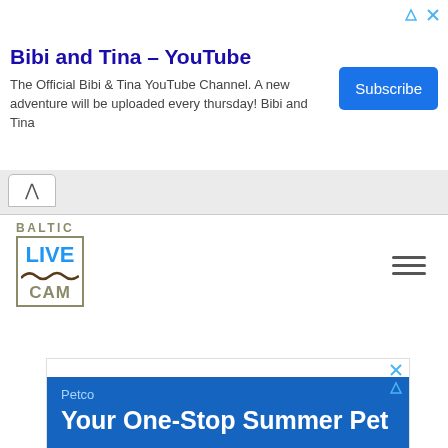Bibi and Tina - YouTube
The Official Bibi & Tina YouTube Channel. A new adventure will be uploaded every thursday! Bibi and Tina
[Figure (screenshot): Subscribe button (blue rounded rectangle)]
[Figure (logo): Baltic Live Cam logo with BALTIC text above a bordered box containing LIVE in blue, a wave graphic, and CAM in brown]
[Figure (screenshot): Hamburger menu icon (three horizontal lines)]
Petco
Your One-Stop Summer Pet
This site uses cookies, as explained in our cookie policy. If you agree to our use of cookies, please close this message and co
Your Pet's Summer Essentials
Petco
Cook